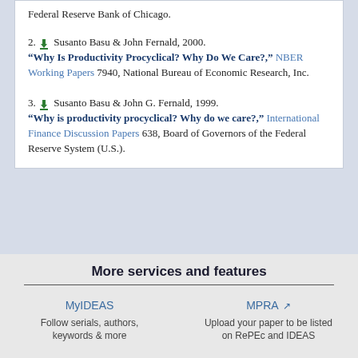Federal Reserve Bank of Chicago.
2. Susanto Basu & John Fernald, 2000. "Why Is Productivity Procyclical? Why Do We Care?," NBER Working Papers 7940, National Bureau of Economic Research, Inc.
3. Susanto Basu & John G. Fernald, 1999. "Why is productivity procyclical? Why do we care?," International Finance Discussion Papers 638, Board of Governors of the Federal Reserve System (U.S.).
More services and features
MyIDEAS
Follow serials, authors, keywords & more
MPRA
Upload your paper to be listed on RePEc and IDEAS
New papers by email
EconAcademics